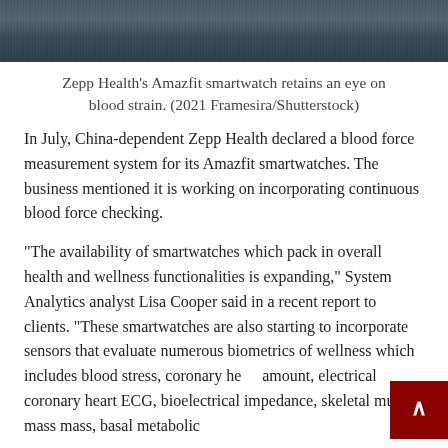[Figure (photo): Close-up photo of a smartwatch strap and watch body, dark blue/grey tones]
Zepp Health’s Amazfit smartwatch retains an eye on blood strain. (2021 Framesira/Shutterstock)
In July, China-dependent Zepp Health declared a blood force measurement system for its Amazfit smartwatches. The business mentioned it is working on incorporating continuous blood force checking.
“The availability of smartwatches which pack in overall health and wellness functionalities is expanding,” System Analytics analyst Lisa Cooper said in a recent report to clients. “These smartwatches are also starting to incorporate sensors that evaluate numerous biometrics of wellness which includes blood stress, coronary heart amount, electrical coronary heart ECG, bioelectrical impedance, skeletal muscle mass mass, basal metabolic